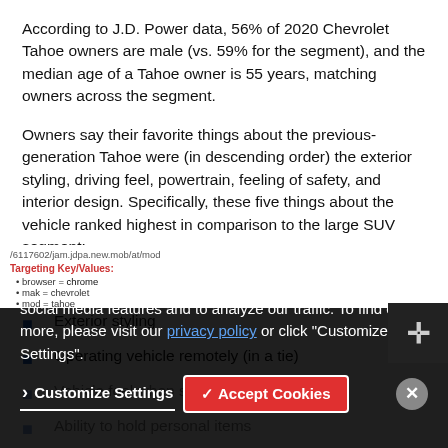According to J.D. Power data, 56% of 2020 Chevrolet Tahoe owners are male (vs. 59% for the segment), and the median age of a Tahoe owner is 55 years, matching owners across the segment.
Owners say their favorite things about the previous-generation Tahoe were (in descending order) the exterior styling, driving feel, powertrain, feeling of safety, and interior design. Specifically, these five things about the vehicle ranked highest in comparison to the large SUV segment:
Fuel economy/driving range
Exterior styling
Operating vehicle remotely (in a tie)
Vehicle feel when started up (in a tie)
Ability to hold personal items
We use cookies to personalize content and ads, to provide social media features and to analyze our traffic. To find out more, please visit our privacy policy or click "Customize Settings".